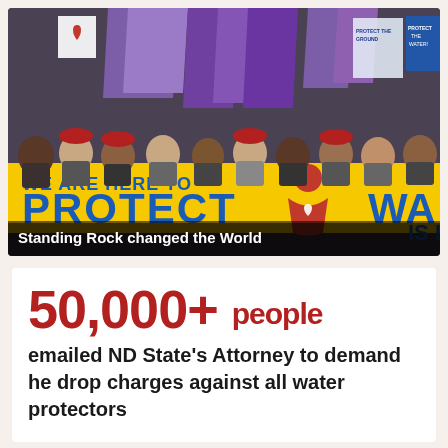[Figure (photo): Protest march photo showing crowds of people holding purple flags and banners including a large yellow banner reading 'WE ARE HERE TO PROTECT WA...' with red figures on it. People are wearing red hats and carrying signs about water and land protection.]
Standing Rock changed the World
50,000+ people emailed ND State's Attorney to demand he drop charges against all water protectors